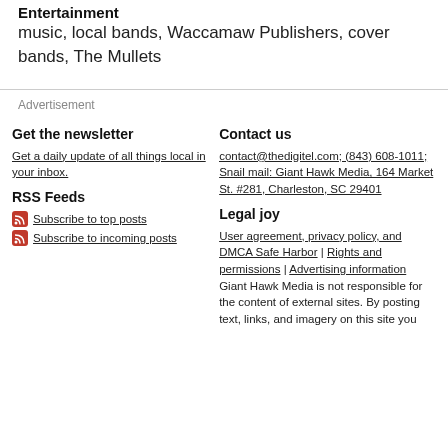Entertainment
music, local bands, Waccamaw Publishers, cover bands, The Mullets
Advertisement
Get the newsletter
Get a daily update of all things local in your inbox.
RSS Feeds
Subscribe to top posts
Subscribe to incoming posts
Contact us
contact@thedigitel.com; (843) 608-1011; Snail mail: Giant Hawk Media, 164 Market St. #281, Charleston, SC 29401
Legal joy
User agreement, privacy policy, and DMCA Safe Harbor | Rights and permissions | Advertising information Giant Hawk Media is not responsible for the content of external sites. By posting text, links, and imagery on this site you